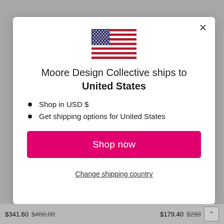[Figure (screenshot): US flag SVG illustration shown in modal dialog]
Moore Design Collective ships to United States
Shop in USD $
Get shipping options for United States
Shop now
Change shipping country
$341.60 $488.00  $179.40 $299